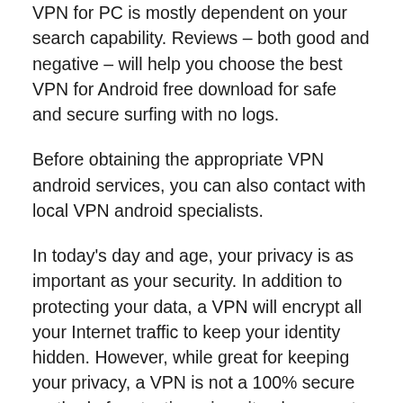VPN for PC is mostly dependent on your search capability. Reviews – both good and negative – will help you choose the best VPN for Android free download for safe and secure surfing with no logs.
Before obtaining the appropriate VPN android services, you can also contact with local VPN android specialists.
In today's day and age, your privacy is as important as your security. In addition to protecting your data, a VPN will encrypt all your Internet traffic to keep your identity hidden. However, while great for keeping your privacy, a VPN is not a 100% secure method of protection, since it only encrypts your data, it doesn't encrypt your